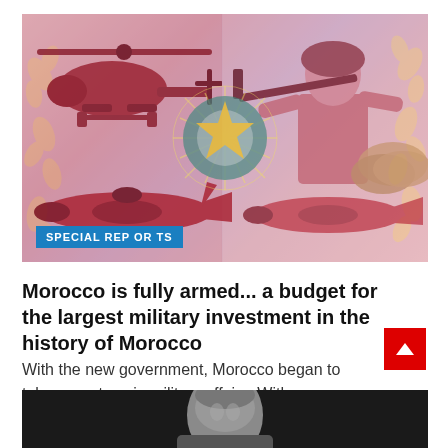[Figure (photo): Composite military image showing military helicopter top-left, armed soldier top-right with weapon pointed, military drone/aircraft bottom-left and bottom-right, Morocco national emblem (star on blue/green circle) in center, decorative floral pattern in background, all in reddish-pink tinted overlay]
SPECIAL REPORTS
Morocco is fully armed... a budget for the largest military investment in the history of Morocco
With the new government, Morocco began to take new steps in military affairs; With a...
[Figure (photo): Bottom portion of a person's face/head, dark background, appears to be a portrait photo]